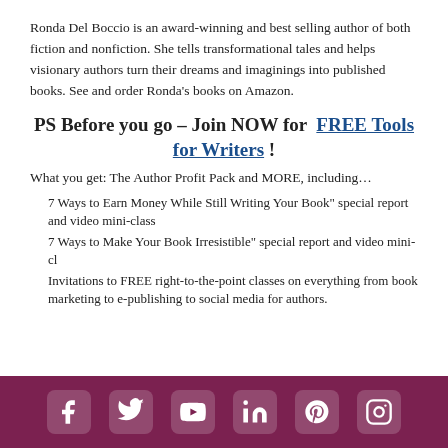Ronda Del Boccio is an award-winning and best selling author of both fiction and nonfiction. She tells transformational tales and helps visionary authors turn their dreams and imaginings into published books. See and order Ronda's books on Amazon.
PS Before you go – Join NOW for FREE Tools for Writers !
What you get: The Author Profit Pack and MORE, including…
7 Ways to Earn Money While Still Writing Your Book" special report and video mini-class
7 Ways to Make Your Book Irresistible" special report and video mini-cl
Invitations to FREE right-to-the-point classes on everything from book marketing to e-publishing to social media for authors.
[Social media icons: Facebook, Twitter, YouTube, LinkedIn, Pinterest, Instagram]